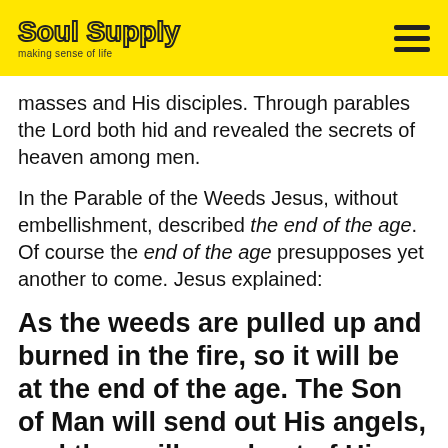Soul Supply — making sense of life
masses and His disciples. Through parables the Lord both hid and revealed the secrets of heaven among men.
In the Parable of the Weeds Jesus, without embellishment, described the end of the age. Of course the end of the age presupposes yet another to come. Jesus explained:
As the weeds are pulled up and burned in the fire, so it will be at the end of the age. The Son of Man will send out His angels, and they will weed out of His kingdom everything that causes sin and all who do evil.